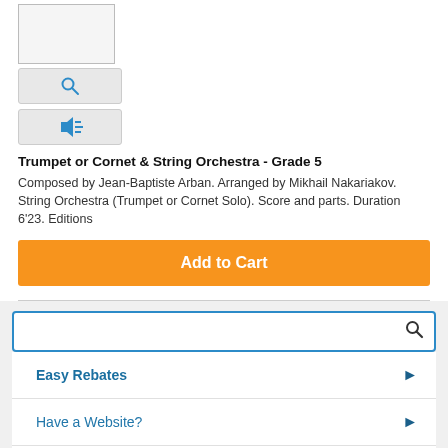[Figure (other): Small thumbnail image box (blank/white)]
[Figure (other): Search/magnify icon button (gray background, blue magnifier icon)]
[Figure (other): Audio/speaker icon button (gray background, blue speaker icon)]
Trumpet or Cornet & String Orchestra - Grade 5
Composed by Jean-Baptiste Arban. Arranged by Mikhail Nakariakov. String Orchestra (Trumpet or Cornet Solo). Score and parts. Duration 6'23. Editions
[Figure (other): Orange 'Add to Cart' button]
[Figure (screenshot): Search bar with blue border and magnifier icon]
Easy Rebates
Have a Website?
FREE Newsletter
Bargain Basket